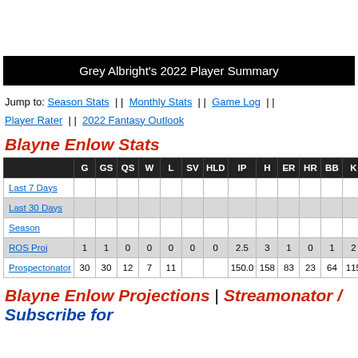Grey Albright's 2022 Player Summary
Jump to: Season Stats || Monthly Stats || Game Log || Player Rater || 2022 Fantasy Outlook
Blayne Enlow Stats
|  | G | GS | QS | W | L | SV | HLD | IP | H | ER | HR | BB | K |
| --- | --- | --- | --- | --- | --- | --- | --- | --- | --- | --- | --- | --- | --- |
| Last 7 Days |  |  |  |  |  |  |  |  |  |  |  |  |  |
| Last 30 Days |  |  |  |  |  |  |  |  |  |  |  |  |  |
| Season |  |  |  |  |  |  |  |  |  |  |  |  |  |
| ROS Proj | 1 | 1 | 0 | 0 | 0 | 0 | 0 | 2.5 | 3 | 1 | 0 | 1 | 2 |
| Prospectonator | 30 | 30 | 12 | 7 | 11 |  |  | 150.0 | 158 | 83 | 23 | 64 | 115 |
Blayne Enlow Projections | Streamonator / Subscribe for ...